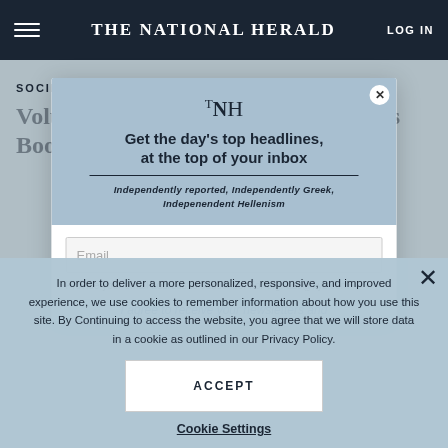THE NATIONAL HERALD | LOG IN
SOCIETY
Volunteer Army Helps Florida Elders Book Cover ...
Get the day's top headlines, at the top of your inbox
Independently reported, Independently Greek, Indepenendent Hellenism
Email
Provide your email address to subscribe. For e.g. abc@xyz.com
I agree to receive your newsletters and
In order to deliver a more personalized, responsive, and improved experience, we use cookies to remember information about how you use this site. By Continuing to access the website, you agree that we will store data in a cookie as outlined in our Privacy Policy.
ACCEPT
Cookie Settings